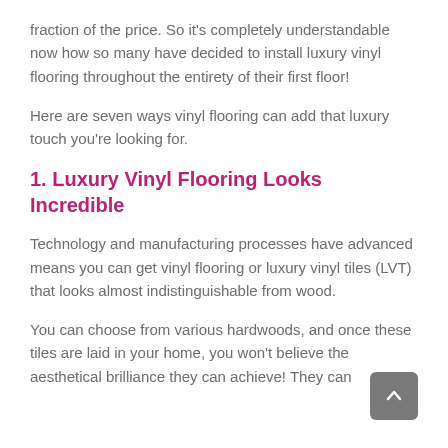fraction of the price. So it's completely understandable now how so many have decided to install luxury vinyl flooring throughout the entirety of their first floor!
Here are seven ways vinyl flooring can add that luxury touch you're looking for.
1. Luxury Vinyl Flooring Looks Incredible
Technology and manufacturing processes have advanced means you can get vinyl flooring or luxury vinyl tiles (LVT) that looks almost indistinguishable from wood.
You can choose from various hardwoods, and once these tiles are laid in your home, you won't believe the aesthetical brilliance they can achieve! They can